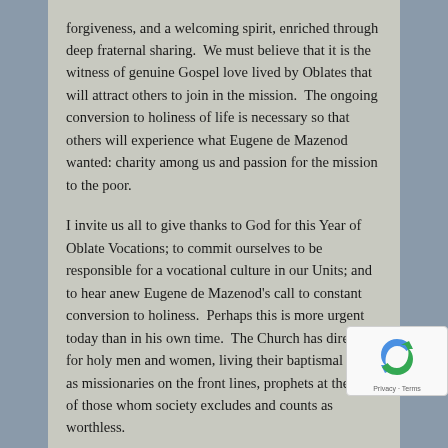forgiveness, and a welcoming spirit, enriched through deep fraternal sharing.  We must believe that it is the witness of genuine Gospel love lived by Oblates that will attract others to join in the mission.  The ongoing conversion to holiness of life is necessary so that others will experience what Eugene de Mazenod wanted: charity among us and passion for the mission to the poor.
I invite us all to give thanks to God for this Year of Oblate Vocations; to commit ourselves to be responsible for a vocational culture in our Units; and to hear anew Eugene de Mazenod's call to constant conversion to holiness.  Perhaps this is more urgent today than in his own time.  The Church has dire need for holy men and women, living their baptismal call as missionaries on the front lines, prophets at the side of those whom society excludes and counts as worthless.
The recent Synod of October 2018, Young People,